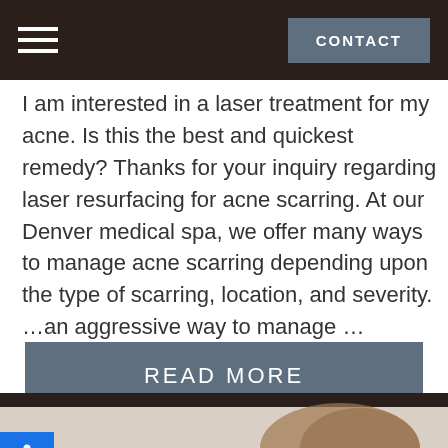CONTACT
I am interested in a laser treatment for my acne. Is this the best and quickest remedy? Thanks for your inquiry regarding laser resurfacing for acne scarring. At our Denver medical spa, we offer many ways to manage acne scarring depending upon the type of scarring, location, and severity. …an aggressive way to manage …
READ MORE
[Figure (photo): Bottom portion of webpage showing a dark header bar and partial photo of a woman with brown hair]